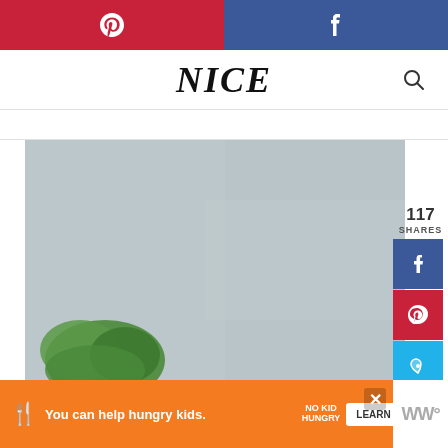[Figure (screenshot): Website screenshot showing a food/lifestyle blog with Pinterest and Facebook share buttons at top, site logo 'NICE' in italic serif font, a large photo of food with blurred green lettuce in foreground, social sharing sidebar with 117 shares count, Facebook, Pinterest, and Yummly buttons, plus a 119 count circle and share button, and a No Kid Hungry ad banner at the bottom.]
117
SHARES
119
You can help hungry kids.
LEARN HOW